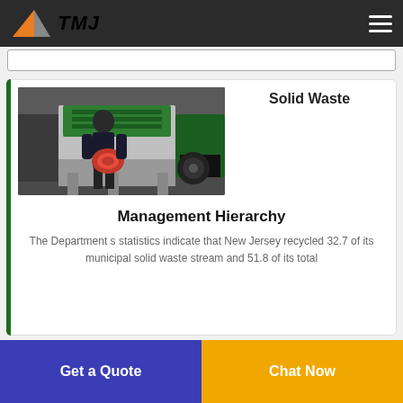TMJ
[Figure (photo): Industrial shredding machine in a factory setting, with a worker standing in front holding a red coil/hose. Large green and grey machinery visible.]
Solid Waste
Management Hierarchy
The Department s statistics indicate that New Jersey recycled 32.7 of its municipal solid waste stream and 51.8 of its total
Get a Quote
Chat Now